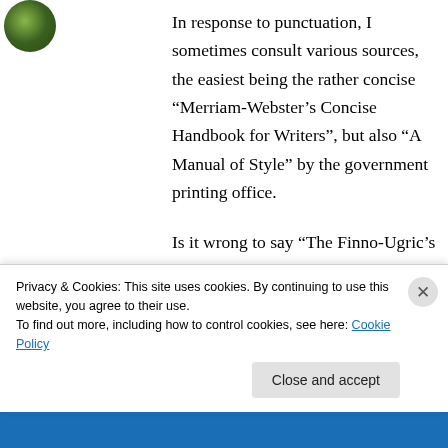[Figure (photo): Small circular avatar with a green nature/leaf background image in the top-left corner]
In response to punctuation, I sometimes consult various sources, the easiest being the rather concise “Merriam-Webster’s Concise Handbook for Writers”, but also “A Manual of Style” by the government printing office.
Is it wrong to say “The Finno-Ugric’s language is very different than the Indo-European’s.
I was surprised that I didn’t know what “glottonym” meant until I looked around and
Privacy & Cookies: This site uses cookies. By continuing to use this website, you agree to their use.
To find out more, including how to control cookies, see here: Cookie Policy
Close and accept